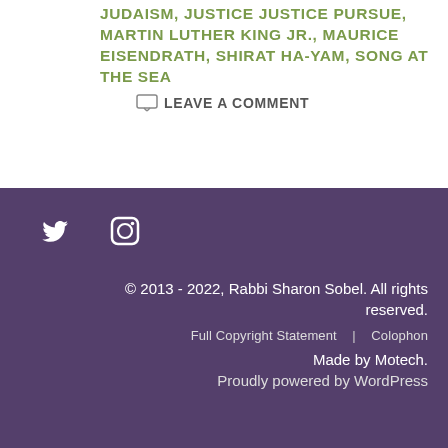JUDAISM, JUSTICE JUSTICE PURSUE, MARTIN LUTHER KING JR., MAURICE EISENDRATH, SHIRAT HA-YAM, SONG AT THE SEA
LEAVE A COMMENT
[Figure (illustration): Twitter and Instagram social media icons in white on purple background]
© 2013 - 2022, Rabbi Sharon Sobel. All rights reserved. Full Copyright Statement | Colophon Made by Motech. Proudly powered by WordPress